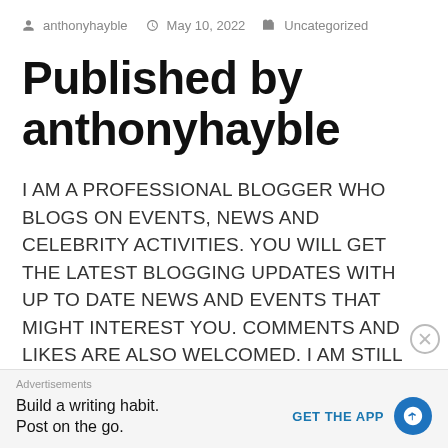anthonyhayble  May 10, 2022  Uncategorized
Published by anthonyhayble
I AM A PROFESSIONAL BLOGGER WHO BLOGS ON EVENTS, NEWS AND CELEBRITY ACTIVITIES. YOU WILL GET THE LATEST BLOGGING UPDATES WITH UP TO DATE NEWS AND EVENTS THAT MIGHT INTEREST YOU. COMMENTS AND LIKES ARE ALSO WELCOMED. I AM STILL IN THE PROCESS OF BUILDING AND UPDATING MY BLOG AND IT WOULD BE UP AND
Advertisements
Build a writing habit. Post on the go.
GET THE APP